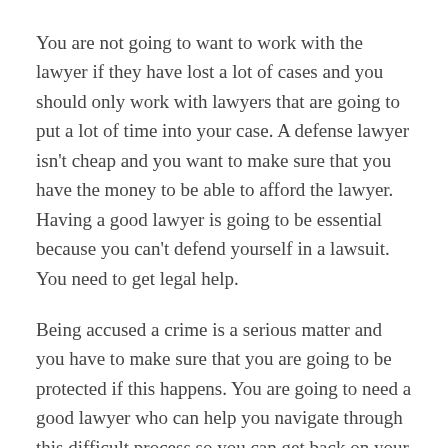You are not going to want to work with the lawyer if they have lost a lot of cases and you should only work with lawyers that are going to put a lot of time into your case. A defense lawyer isn't cheap and you want to make sure that you have the money to be able to afford the lawyer. Having a good lawyer is going to be essential because you can't defend yourself in a lawsuit. You need to get legal help.
Being accused a crime is a serious matter and you have to make sure that you are going to be protected if this happens. You are going to need a good lawyer who can help you navigate through this difficult process so you can get back on your feet and have the charges reduced so you don't end up going to jail. A good criminal defense attorney Jacksonville FL is going to help you